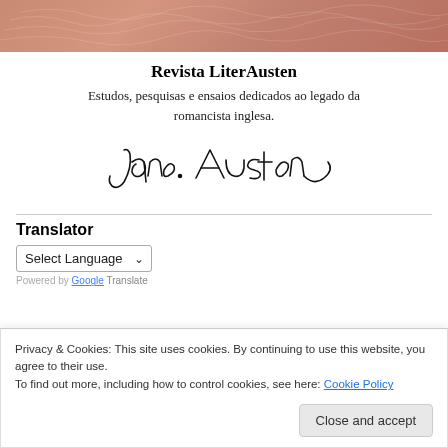[Figure (illustration): Decorative header banner with warm terracotta/salmon color and faint handwritten script texture]
Revista LiterAusten
Estudos, pesquisas e ensaios dedicados ao legado da romancista inglesa.
[Figure (illustration): Jane Austen cursive signature in black ink]
Translator
Select Language
Powered by Google Translate
Privacy & Cookies: This site uses cookies. By continuing to use this website, you agree to their use.
To find out more, including how to control cookies, see here: Cookie Policy
Close and accept